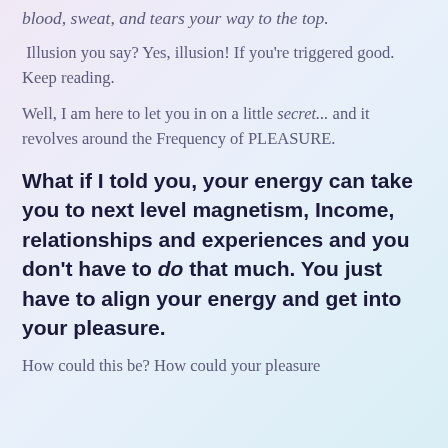blood, sweat, and tears your way to the top.
Illusion you say? Yes, illusion! If you're triggered good. Keep reading.
Well, I am here to let you in on a little secret... and it revolves around the Frequency of PLEASURE.
What if I told you, your energy can take you to next level magnetism, Income, relationships and experiences and you don't have to do that much. You just have to align your energy and get into your pleasure.
How could this be? How could your pleasure